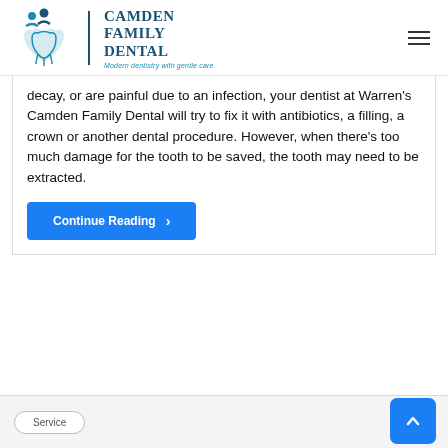[Figure (logo): Camden Family Dental logo with tooth and people icon, tagline: Modern dentistry with gentle care]
decay, or are painful due to an infection, your dentist at Warren's Camden Family Dental will try to fix it with antibiotics, a filling, a crown or another dental procedure. However, when there's too much damage for the tooth to be saved, the tooth may need to be extracted.
Continue Reading ›
Service